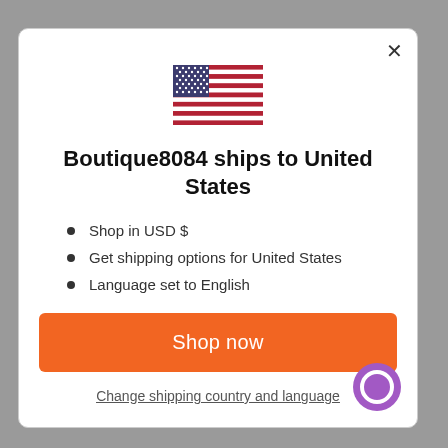[Figure (illustration): US flag emoji/icon centered at top of modal]
Boutique8084 ships to United States
Shop in USD $
Get shipping options for United States
Language set to English
Shop now
Change shipping country and language